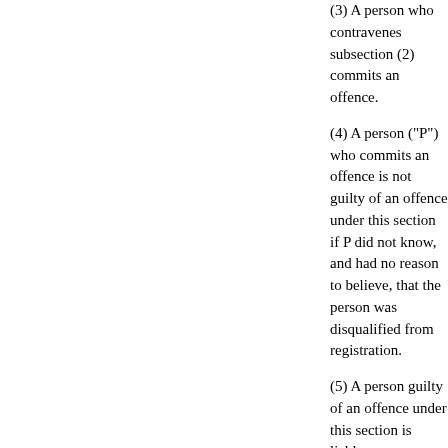(3) A person who contravenes subsection (2) commits an offence.
(4) A person ("P") who commits an offence is not guilty of an offence under this section if P did not know, and had no reason to believe, that the person was disqualified from registration.
(5) A person guilty of an offence under this section is liable on summary conviction to imprisonment for a term not exceeding 51 weeks, or to a fine not exceeding level 5 on the standard scale, or to both.
(6) In relation to an offence committed before the commencement of section 281(5) of the Criminal Justice Act 2003 (c. 44) (alteration of penalties for summary offences), the reference in subsection (5) to 51 weeks is to be read as a reference to 6 months.
47 (1) Section 77 (powers of entry) is amended as follows.
(2) In subsection (1) -
(a) after "34(1)" insert "